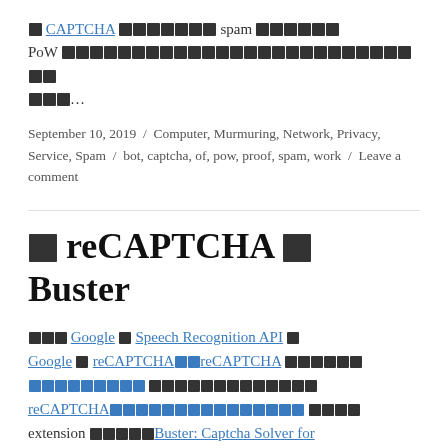⬛ CAPTCHA ⬛⬛⬛⬛⬛⬛⬛ spam ⬛⬛⬛⬛⬛⬛ PoW ⬛⬛⬛⬛⬛⬛⬛⬛⬛⬛⬛⬛⬛⬛⬛⬛⬛⬛⬛⬛⬛⬛⬛⬛⬛⬛⬛...
September 10, 2019 / Computer, Murmuring, Network, Privacy, Service, Spam / bot, captcha, of, pow, proof, spam, work / Leave a comment
⬛ reCAPTCHA ⬛ Buster
⬛⬛⬛ Google ⬛ Speech Recognition API ⬛ Google ⬛ reCAPTCHA⬛⬛reCAPTCHA ⬛⬛⬛⬛⬛⬛ ⬛⬛⬛⬛⬛⬛⬛⬛⬛ ⬛⬛⬛⬛⬛⬛⬛⬛⬛⬛⬛⬛⬛ reCAPTCHA⬛⬛⬛⬛⬛⬛⬛⬛⬛⬛⬛⬛⬛⬛⬛ extension ⬛⬛⬛⬛⬛Buster: Captcha Solver for Humans⬛